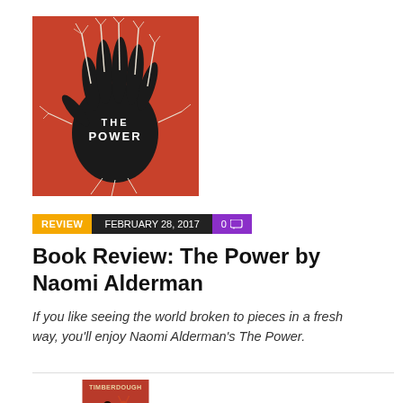[Figure (illustration): Book cover of 'The Power' by Naomi Alderman — red/orange background with a black hand silhouette and white branch-like tendrils, text reads THE POWER in white]
REVIEW   FEBRUARY 28, 2017   0 💬
Book Review: The Power by Naomi Alderman
If you like seeing the world broken to pieces in a fresh way, you'll enjoy Naomi Alderman's The Power.
[Figure (illustration): Partial view of another book cover, appears to be 'Timberdough' or similar title, red/orange background with illustrated figures]